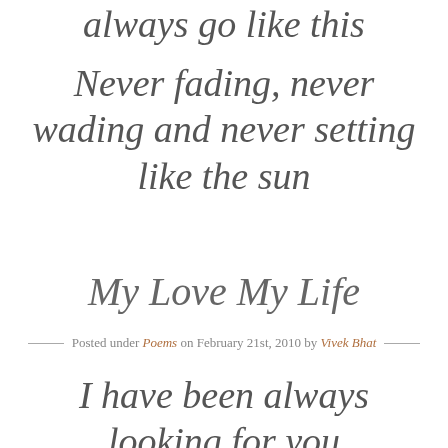always go like this
Never fading, never wading and never setting like the sun
My Love My Life
Posted under Poems on February 21st, 2010 by Vivek Bhat
I have been always looking for you